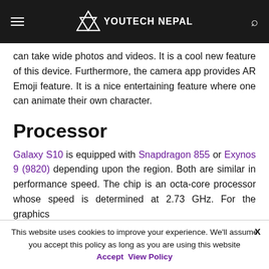YOUTECH NEPAL
can take wide photos and videos. It is a cool new feature of this device. Furthermore, the camera app provides AR Emoji feature. It is a nice entertaining feature where one can animate their own character.
Processor
Galaxy S10 is equipped with Snapdragon 855 or Exynos 9 (9820) depending upon the region. Both are similar in performance speed. The chip is an octa-core processor whose speed is determined at 2.73 GHz. For the graphics
This website uses cookies to improve your experience. We'll assume you accept this policy as long as you are using this website Accept View Policy